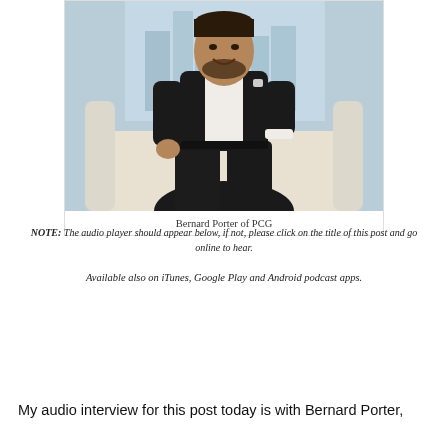[Figure (photo): Portrait photo of Bernard Porter of PCG, a man in a dark suit seated in a light-colored chair, smiling, with a cityscape visible in the background window]
Bernard Porter of PCG
NOTE: The audio player should appear below, if not, please click on the title of this post and go online to hear.
Available also on iTunes, Google Play and Android podcast apps.
My audio interview for this post today is with Bernard Porter,